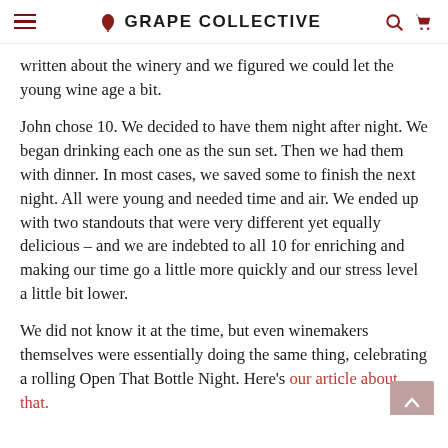GRAPE COLLECTIVE
written about the winery and we figured we could let the young wine age a bit.
John chose 10. We decided to have them night after night. We began drinking each one as the sun set. Then we had them with dinner. In most cases, we saved some to finish the next night. All were young and needed time and air. We ended up with two standouts that were very different yet equally delicious – and we are indebted to all 10 for enriching and making our time go a little more quickly and our stress level a little bit lower.
We did not know it at the time, but even winemakers themselves were essentially doing the same thing, celebrating a rolling Open That Bottle Night. Here's our article about that.